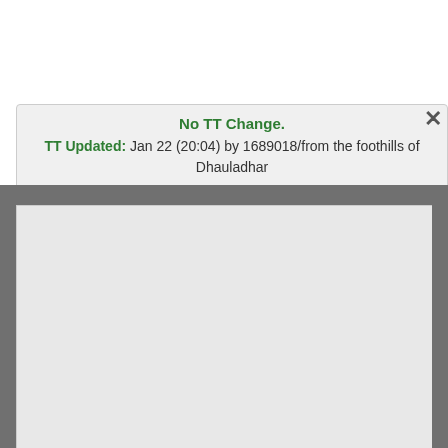No TT Change.
TT Updated: Jan 22 (20:04) by 1689018/from the foothills of Dhauladhar